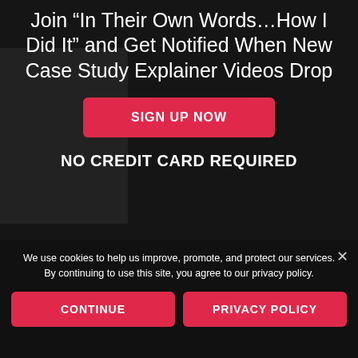Join "In Their Own Words...How I Did It" and Get Notified When New Case Study Explainer Videos Drop
SIGN UP NOW
NO CREDIT CARD REQUIRED
We use cookies to help us improve, promote, and protect our services. By continuing to use this site, you agree to our privacy policy.
CONTINUE
PRIVACY POLICY